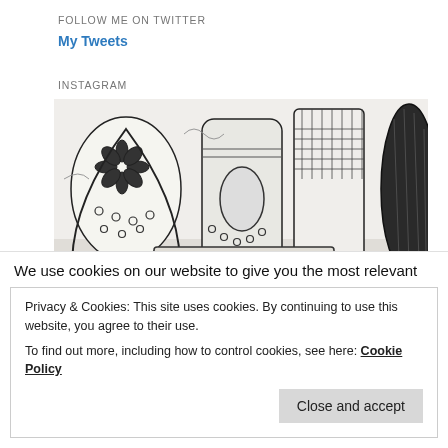FOLLOW ME ON TWITTER
My Tweets
INSTAGRAM
[Figure (illustration): Black and white ink drawing of decorative pottery/vases and containers with floral and dot patterns]
We use cookies on our website to give you the most relevant
Privacy & Cookies: This site uses cookies. By continuing to use this website, you agree to their use.
To find out more, including how to control cookies, see here: Cookie Policy
Close and accept